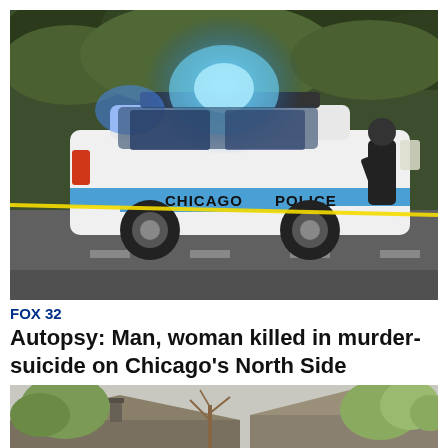[Figure (photo): Chicago Police SUV with blue lights flashing at a crime scene, officer standing behind vehicle, yellow tape visible, green trees in background]
FOX 32
Autopsy: Man, woman killed in murder-suicide on Chicago's North Side
[Figure (photo): Partial view of rooftops and bare/leafy trees against a white sky]